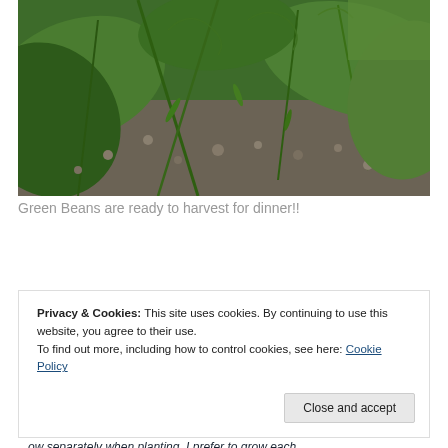[Figure (photo): Close-up photograph of green bean plants growing in a garden, with stems, leaves and soil visible]
Green Beans are ready to harvest for dinner!!
[Figure (other): Dark advertisement banner bar with REPORT THIS AD text]
Privacy & Cookies: This site uses cookies. By continuing to use this website, you agree to their use.
To find out more, including how to control cookies, see here: Cookie Policy
...ow separately when planting. I prefer to grow each